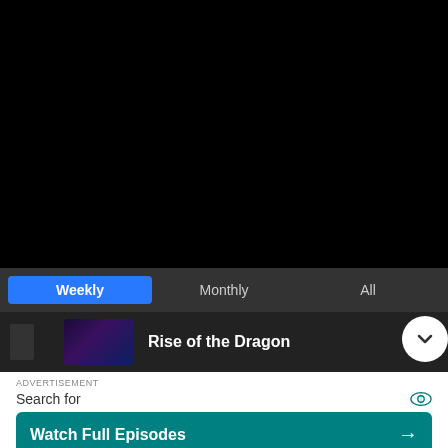[Figure (screenshot): Black background area representing a video or dark content area]
Weekly | Monthly | All (tab bar)
Rise of the Dragon
ADVERTISEMENT
Search for
Watch Full Episodes →
Trendy Dresses For Older Women →
Yahoo! Search | Sponsored